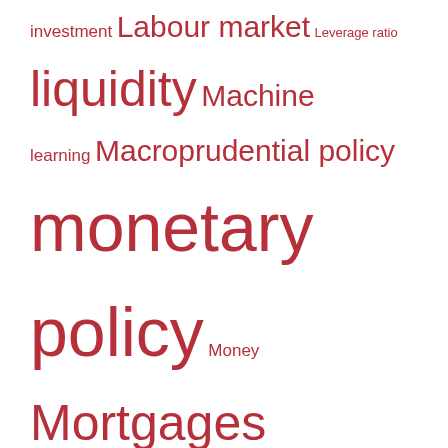Housing housing market insurance interest rates investment Labour market Leverage ratio liquidity Machine learning Macroprudential policy monetary policy Money Mortgages Productivity Quantitative easing regulation schools competition Secular Stagnation trade uncertainty volatility zero lower bound
Follow via RSS
Privacy & Cookies: This site uses cookies from WordPress.com and other selected partners. View Privacy and Cookie Policy